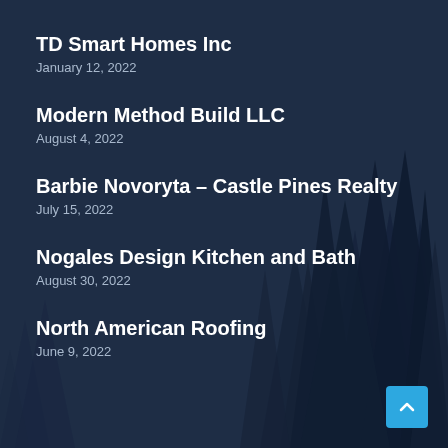[Figure (illustration): Dark navy blue background with silhouettes of pine/fir trees creating a forest scene]
TD Smart Homes Inc
January 12, 2022
Modern Method Build LLC
August 4, 2022
Barbie Novoryta – Castle Pines Realty
July 15, 2022
Nogales Design Kitchen and Bath
August 30, 2022
North American Roofing
June 9, 2022